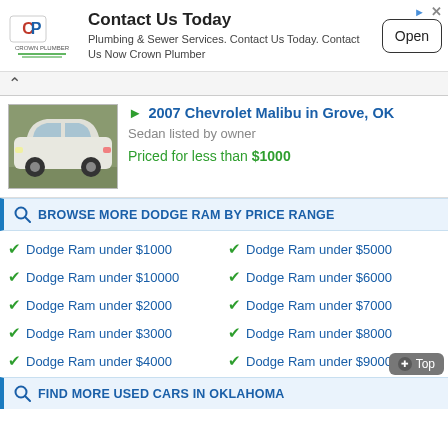[Figure (logo): Crown Plumber logo with CP icon in red/blue]
Contact Us Today
Plumbing & Sewer Services. Contact Us Today. Contact Us Now Crown Plumber
Open
[Figure (photo): White sedan (Chevrolet Malibu) parked outdoors in winter]
2007 Chevrolet Malibu in Grove, OK
Sedan listed by owner
Priced for less than $1000
BROWSE MORE DODGE RAM BY PRICE RANGE
Dodge Ram under $1000
Dodge Ram under $5000
Dodge Ram under $10000
Dodge Ram under $6000
Dodge Ram under $2000
Dodge Ram under $7000
Dodge Ram under $3000
Dodge Ram under $8000
Dodge Ram under $4000
Dodge Ram under $9000
FIND MORE USED CARS IN OKLAHOMA